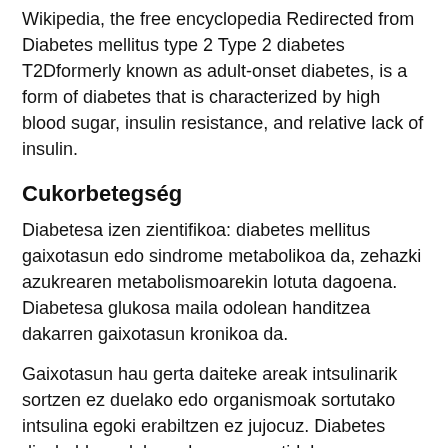Wikipedia, the free encyclopedia Redirected from Diabetes mellitus type 2 Type 2 diabetes T2Dformerly known as adult-onset diabetes, is a form of diabetes that is characterized by high blood sugar, insulin resistance, and relative lack of insulin.
Cukorbetegség
Diabetesa izen zientifikoa: diabetes mellitus gaixotasun edo sindrome metabolikoa da, zehazki azukrearen metabolismoarekin lotuta dagoena. Diabetesa glukosa maila odolean handitzea dakarren gaixotasun kronikoa da.
Gaixotasun hau gerta daiteke areak intsulinarik sortzen ez duelako edo organismoak sortutako intsulina egoki erabiltzen ez jujocuz. Diabetes disebabkan oleh pankreas yang tidak memproduksi cukup insulin, atau sel-sel tubuh tidak merespons dengan baik terhadap insulin yang diproduksi